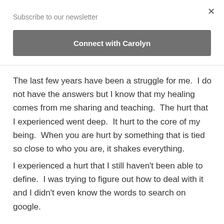Subscribe to our newsletter
Connect with Carolyn
The last few years have been a struggle for me.  I do not have the answers but I know that my healing comes from me sharing and teaching.  The hurt that I experienced went deep.  It hurt to the core of my being.  When you are hurt by something that is tied so close to who you are, it shakes everything.
I experienced a hurt that I still haven't been able to define.  I was trying to figure out how to deal with it and I didn't even know the words to search on google.